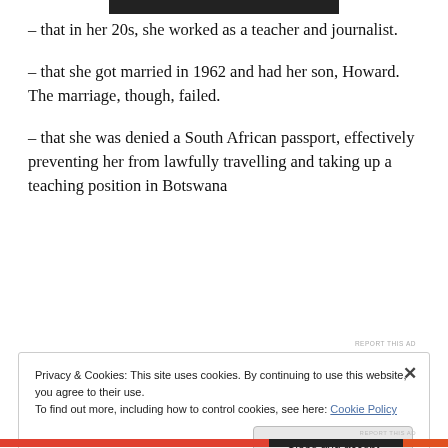[Figure (photo): Top portion of a black and white photograph, partially visible at the top of the page.]
– that in her 20s, she worked as a teacher and journalist.
– that she got married in 1962 and had her son, Howard. The marriage, though, failed.
– that she was denied a South African passport, effectively preventing her from lawfully travelling and taking up a teaching position in Botswana
REPORT THIS AD
Privacy & Cookies: This site uses cookies. By continuing to use this website, you agree to their use.
To find out more, including how to control cookies, see here: Cookie Policy
Close and accept